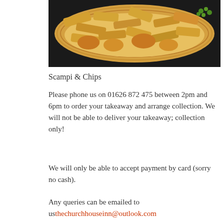[Figure (photo): Photo of scampi and chips in a takeaway tray, viewed from above on a dark background]
Scampi & Chips
Please phone us on 01626 872 475 between 2pm and 6pm to order your takeaway and arrange collection. We will not be able to deliver your takeaway; collection only!
We will only be able to accept payment by card (sorry no cash).
Any queries can be emailed to us thechurchhouseinn@outlook.com
[Figure (photo): Photo of a food dish in a silver foil takeaway container showing roast potatoes and meat in sauce]